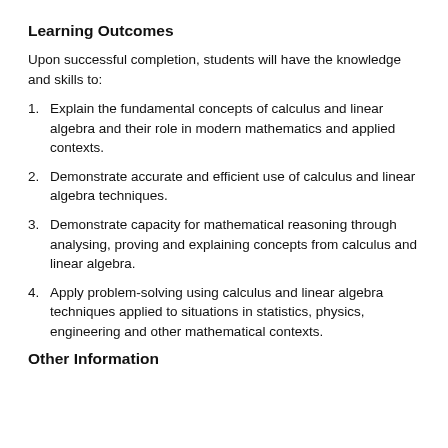Learning Outcomes
Upon successful completion, students will have the knowledge and skills to:
1. Explain the fundamental concepts of calculus and linear algebra and their role in modern mathematics and applied contexts.
2. Demonstrate accurate and efficient use of calculus and linear algebra techniques.
3. Demonstrate capacity for mathematical reasoning through analysing, proving and explaining concepts from calculus and linear algebra.
4. Apply problem-solving using calculus and linear algebra techniques applied to situations in statistics, physics, engineering and other mathematical contexts.
Other Information